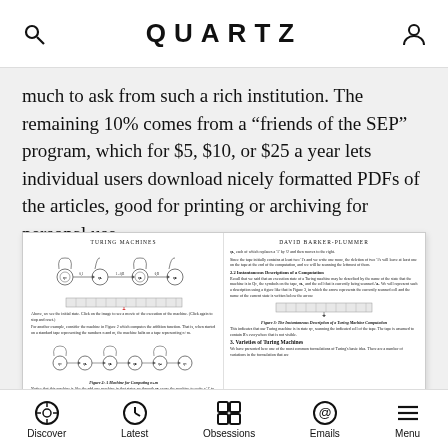QUARTZ
much to ask from such a rich institution. The remaining 10% comes from a “friends of the SEP” program, which for $5, $10, or $25 a year lets individual users download nicely formatted PDFs of the articles, good for printing or archiving for personal use.
[Figure (screenshot): Screenshot of a Turing Machines academic document with diagrams of state machines, tape representations, and text sections including 'Turing Machines', 'David Barker-Plummer', 'Figure 2: A Machine for Computing n+m', 'Figure 3: The Instantaneous Description of a Turing Machine Computation', '2.2 Instantaneous Descriptions of a Computation', '3. Varieties of Turing Machines']
Discover  Latest  Obsessions  Emails  Menu